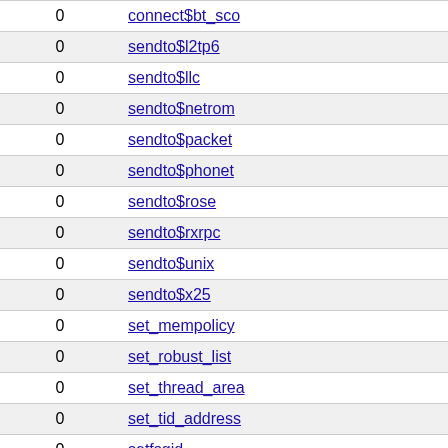| 0 | connect$bt_sco |
| --- | --- |
| 0 | connect$bt_sco |
| 0 | sendto$l2tp6 |
| 0 | sendto$llc |
| 0 | sendto$netrom |
| 0 | sendto$packet |
| 0 | sendto$phonet |
| 0 | sendto$rose |
| 0 | sendto$rxrpc |
| 0 | sendto$unix |
| 0 | sendto$x25 |
| 0 | set_mempolicy |
| 0 | set_robust_list |
| 0 | set_thread_area |
| 0 | set_tid_address |
| 0 | setfsgid |
| 0 | setfsuid |
| 0 | setgid |
| 0 | setgroups |
| 0 | setitimer |
| 0 | setns |